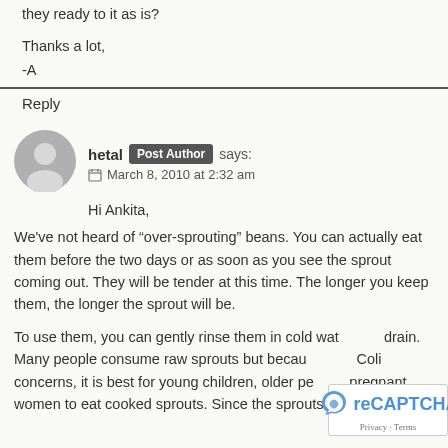they ready to it as is?
Thanks a lot,
-A
Reply
hetal Post Author says:
March 8, 2010 at 2:32 am
Hi Ankita,
We've not heard of “over-sprouting” beans. You can actually eat them before the two days or as soon as you see the sprout coming out. They will be tender at this time. The longer you keep them, the longer the sprout will be.
To use them, you can gently rinse them in cold water and drain. Many people consume raw sprouts but because of E-Coli concerns, it is best for young children, older people, pregnant women to eat cooked sprouts. Since the sprouts